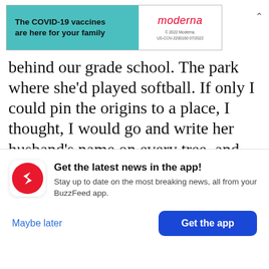[Figure (screenshot): Moderna COVID-19 vaccine advertisement banner with teal left panel and white right panel showing Moderna logo]
behind our grade school. The park where she'd played softball. If only I could pin the origins to a place, I thought, I would go and write her husband's name on every tree, and then I'd cut down every last one. My fantasies of futile and symbolic revenge mounted. I was crazed with it. The interrogations continued.
Nothing ever happened to me, she insisted
[Figure (screenshot): BuzzFeed app notification overlay with red circular icon, headline 'Get the latest news in the app!', subtitle text, and two buttons: 'Maybe later' and 'Get the app']